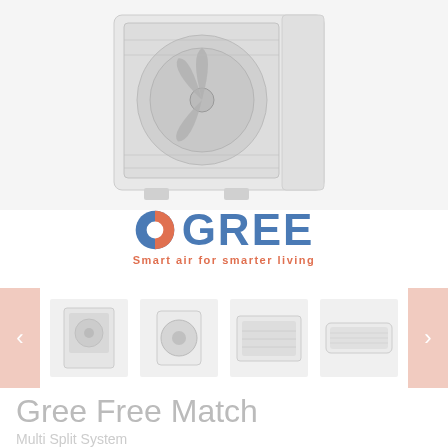[Figure (photo): White Gree outdoor air conditioning unit (multi-split system), large square box with fan grille, photographed from a slight angle]
[Figure (logo): GREE logo — blue circle with orange arc on left, bold blue letters GREE, orange tagline 'Smart air for smarter living']
[Figure (photo): Carousel of 4 product thumbnail images showing different Gree air conditioning units, with left and right navigation arrows]
Gree Free Match
Multi Split System